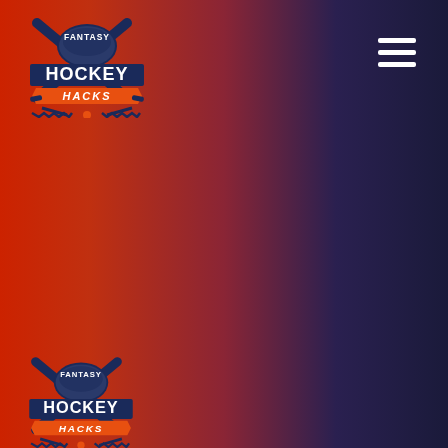[Figure (logo): Fantasy Hockey Hacks logo — hockey puck with crossed sticks, text FANTASY above, HOCKEY large, HACKS on ribbon banner, decorative bottom detail. Orange and navy color scheme.]
[Figure (other): Hamburger menu icon — three horizontal white lines stacked vertically, top right corner.]
[Figure (logo): Fantasy Hockey Hacks logo repeated at bottom left — same design as top logo, slightly smaller.]